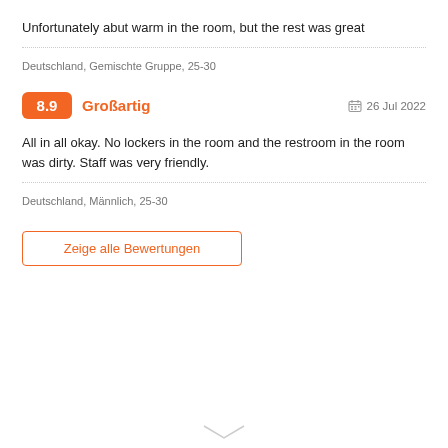Unfortunately abut warm in the room, but the rest was great
Deutschland, Gemischte Gruppe, 25-30
8.9  Großartig    26 Jul 2022
All in all okay. No lockers in the room and the restroom in the room was dirty. Staff was very friendly.
Deutschland, Männlich, 25-30
Zeige alle Bewertungen